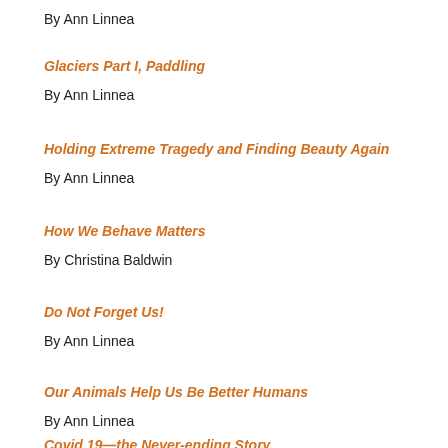By Ann Linnea
Glaciers Part I, Paddling
By Ann Linnea
Holding Extreme Tragedy and Finding Beauty Again
By Ann Linnea
How We Behave Matters
By Christina Baldwin
Do Not Forget Us!
By Ann Linnea
Our Animals Help Us Be Better Humans
By Ann Linnea
Covid 19—the Never-ending Story